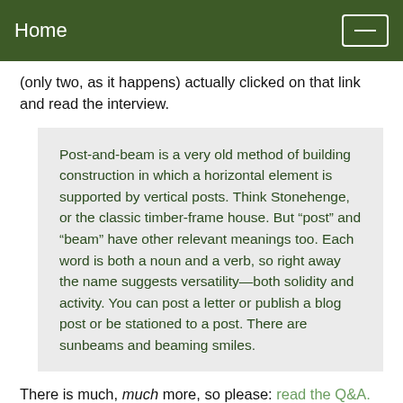Home
(only two, as it happens) actually clicked on that link and read the interview.
Post-and-beam is a very old method of building construction in which a horizontal element is supported by vertical posts. Think Stonehenge, or the classic timber-frame house. But “post” and “beam” have other relevant meanings too. Each word is both a noun and a verb, so right away the name suggests versatility—both solidity and activity. You can post a letter or publish a blog post or be stationed to a post. There are sunbeams and beaming smiles.
There is much, much more, so please: read the Q&A.
A couple of additional points: